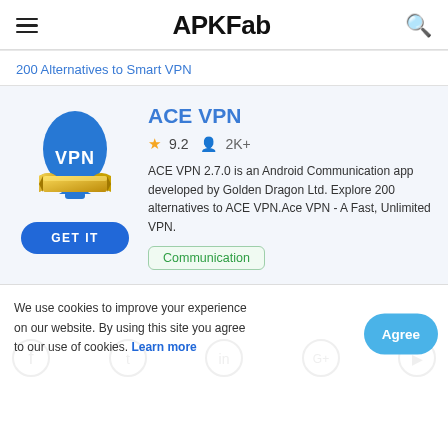APKFab
200 Alternatives to Smart VPN
ACE VPN
9.2  2K+
ACE VPN 2.7.0 is an Android Communication app developed by Golden Dragon Ltd. Explore 200 alternatives to ACE VPN.Ace VPN - A Fast, Unlimited VPN.
Communication
We use cookies to improve your experience on our website. By using this site you agree to our use of cookies. Learn more